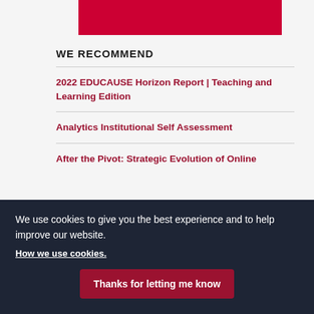[Figure (other): Red banner bar at top of page]
WE RECOMMEND
2022 EDUCAUSE Horizon Report | Teaching and Learning Edition
Analytics Institutional Self Assessment
After the Pivot: Strategic Evolution of Online
We use cookies to give you the best experience and to help improve our website.
How we use cookies.
Thanks for letting me know